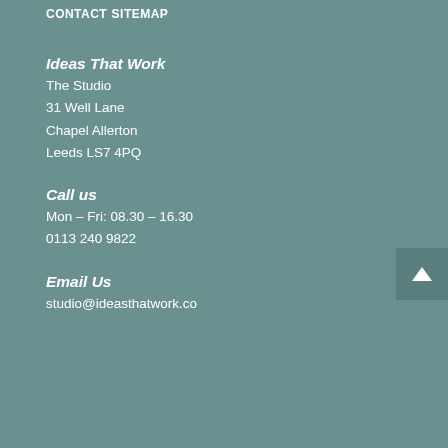CONTACT
SITEMAP
Ideas That Work
The Studio
31 Well Lane
Chapel Allerton
Leeds LS7 4PQ
Call us
Mon – Fri: 08.30 – 16.30
0113 240 9822
Email Us
studio@ideasthatwork.co